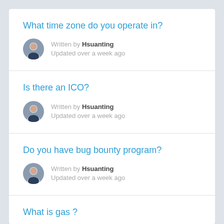What time zone do you operate in?
Written by Hsuanting
Updated over a week ago
Is there an ICO?
Written by Hsuanting
Updated over a week ago
Do you have bug bounty program?
Written by Hsuanting
Updated over a week ago
What is gas ?
Written by Hsuanting
Updated over a week ago